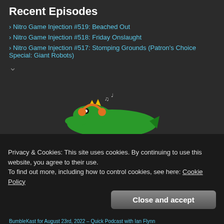Recent Episodes
Nitro Game Injection #519: Beached Out
Nitro Game Injection #518: Friday Onslaught
Nitro Game Injection #517: Stomping Grounds (Patron's Choice Special: Giant Robots)
[Figure (logo): BumbleKast logo with green alligator/crocodile wearing headphones and a crown, text BUMBLEKAST below]
Visit BumbleKing Comics
[Figure (infographic): Row of social media icons: RSS feed, YouTube, Podcast, Google Podcasts, Amazon Music, Castro, Twitter]
Privacy & Cookies: This site uses cookies. By continuing to use this website, you agree to their use.
To find out more, including how to control cookies, see here: Cookie Policy
Close and accept
BumbleKast for August 23rd, 2022 – Quick Podcast with Ian Flynn